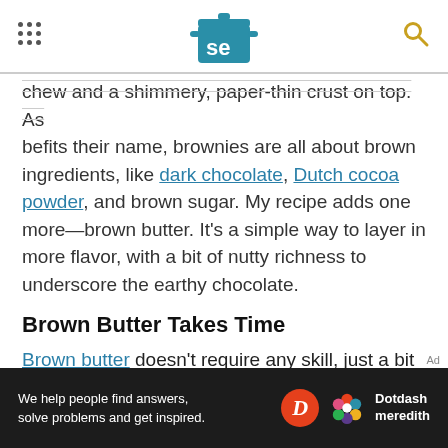Serious Eats logo and navigation
chew and a shimmery, paper-thin crust on top. As befits their name, brownies are all about brown ingredients, like dark chocolate, Dutch cocoa powder, and brown sugar. My recipe adds one more—brown butter. It's a simple way to layer in more flavor, with a bit of nutty richness to underscore the earthy chocolate.
Brown Butter Takes Time
Brown butter doesn't require any skill, just a bit of patience. Start by gently melting the butter in a three-quart saucier over medium-low heat. If you happen to have a used vanilla bean stuck in a jar of
[Figure (other): Dotdash Meredith advertisement banner: 'We help people find answers, solve problems and get inspired.' with Dotdash Meredith logo]